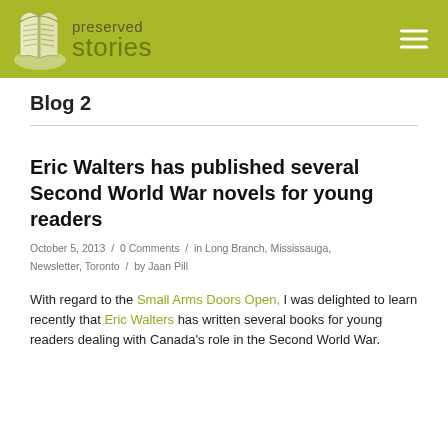[Figure (logo): Preserved Stories website logo with open book illustration and site name on olive green header bar]
Blog 2
Eric Walters has published several Second World War novels for young readers
October 5, 2013 / 0 Comments / in Long Branch, Mississauga, Newsletter, Toronto / by Jaan Pill
With regard to the Small Arms Doors Open, I was delighted to learn recently that Eric Walters has written several books for young readers dealing with Canada's role in the Second World War.